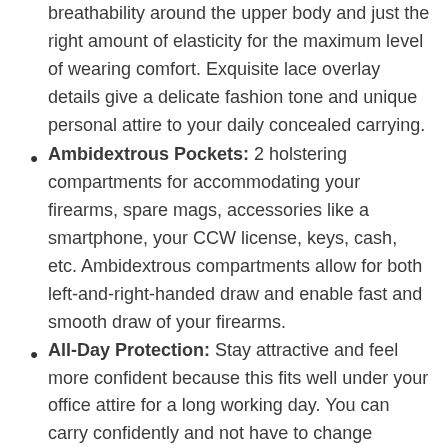breathability around the upper body and just the right amount of elasticity for the maximum level of wearing comfort. Exquisite lace overlay details give a delicate fashion tone and unique personal attire to your daily concealed carrying.
Ambidextrous Pockets: 2 holstering compartments for accommodating your firearms, spare mags, accessories like a smartphone, your CCW license, keys, cash, etc. Ambidextrous compartments allow for both left-and-right-handed draw and enable fast and smooth draw of your firearms.
All-Day Protection: Stay attractive and feel more confident because this fits well under your office attire for a long working day. You can carry confidently and not have to change clothing or shooting style to do so.
Secure Wearing: Multiple rows of hook & eye closures allow you to find the perfect fit within